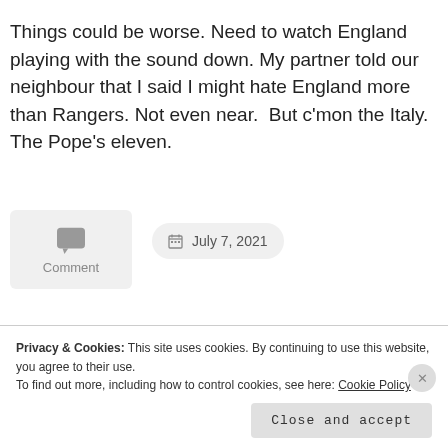Things could be worse. Need to watch England playing with the sound down. My partner told our neighbour that I said I might hate England more than Rangers. Not even near.  But c'mon the Italy. The Pope's eleven.
Comment
July 7, 2021
Aaron Hickey
Albian Ajeti
Ange Postecolgou
Bannan
Barkas
Dragon Park
Josh Windass
Privacy & Cookies: This site uses cookies. By continuing to use this website, you agree to their use. To find out more, including how to control cookies, see here: Cookie Policy
Close and accept